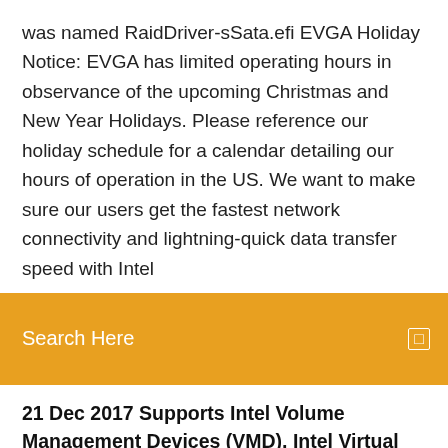was named RaidDriver-sSata.efi EVGA Holiday Notice: EVGA has limited operating hours in observance of the upcoming Christmas and New Year Holidays. Please reference our holiday schedule for a calendar detailing our hours of operation in the US. We want to make sure our users get the fastest network connectivity and lightning-quick data transfer speed with Intel
[Figure (screenshot): Orange search bar with text 'Search Here' and a small square icon on the right]
21 Dec 2017 Supports Intel Volume Management Devices (VMD), Intel Virtual RAID on Chip (VROC), and Intel RSTe. This is the Intel VROC and Intel RSTe
Dear Friends I have (legal) Vegas Pro 16 (352) x64 (64 BIT). My PC: - Asus ROG Crosshair VII HERO motherboard - AMD Ryzen 7 2700x processor (8 c CPU Support for Intel Core X series processors in the LGA2066 package L3 cache varies with CPU (Please refer "CPU Support List" for more information.) Chipset Intel X299 Express Chipset Memory 8 x DDR4 DIMM sockets supporting up to 128.  Vše za nízké ceny a se servisem a